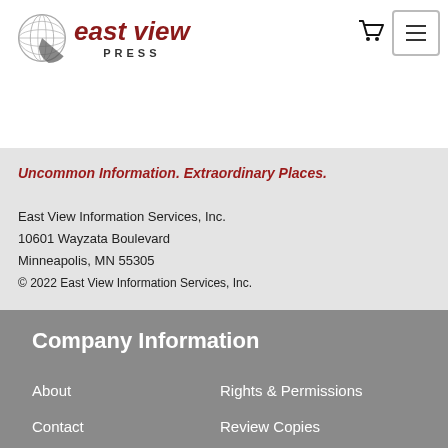[Figure (logo): East View Press logo with globe graphic and red italic text 'east view' with 'PRESS' in dark letters below]
Uncommon Information. Extraordinary Places.
East View Information Services, Inc.
10601 Wayzata Boulevard
Minneapolis, MN 55305
© 2022 East View Information Services, Inc.
Company Information
About
Rights & Permissions
Contact
Review Copies